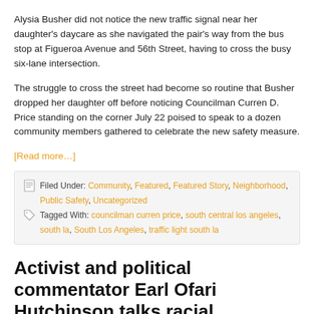Alysia Busher did not notice the new traffic signal near her daughter's daycare as she navigated the pair's way from the bus stop at Figueroa Avenue and 56th Street, having to cross the busy six-lane intersection.
The struggle to cross the street had become so routine that Busher dropped her daughter off before noticing Councilman Curren D. Price standing on the corner July 22 poised to speak to a dozen community members gathered to celebrate the new safety measure.
[Read more…]
Filed Under: Community, Featured, Featured Story, Neighborhood, Public Safety, Uncategorized  Tagged With: councilman curren price, south central los angeles, south la, South Los Angeles, traffic light south la
Activist and political commentator Earl Ofari Hutchinson talks racial…